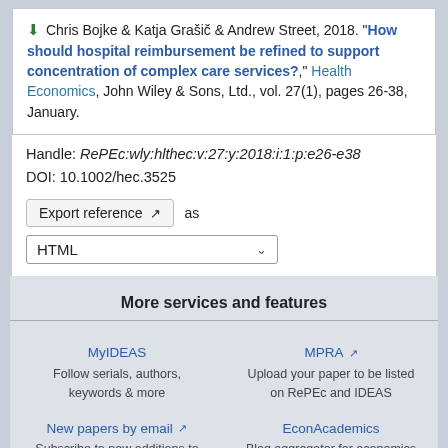Chris Bojke & Katja Grašič & Andrew Street, 2018. "How should hospital reimbursement be refined to support concentration of complex care services?," Health Economics, John Wiley & Sons, Ltd., vol. 27(1), pages 26-38, January.
Handle: RePEc:wly:hlthec:v:27:y:2018:i:1:p:e26-e38
DOI: 10.1002/hec.3525
Export reference as
HTML
More services and features
MyIDEAS
Follow serials, authors, keywords & more
MPRA
Upload your paper to be listed on RePEc and IDEAS
New papers by email
Subscribe to new additions to
EconAcademics
Blog aggregator for economics